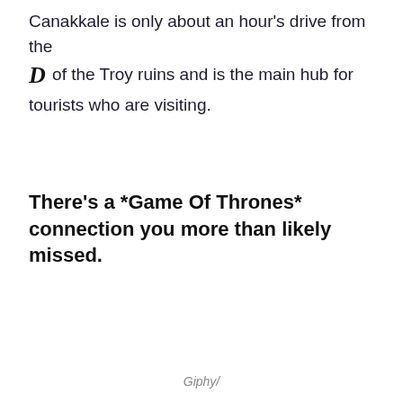Canakkale is only about an hour's drive from the [D] of the Troy ruins and is the main hub for tourists who are visiting.
There's a *Game Of Thrones* connection you more than likely missed.
Giphy/